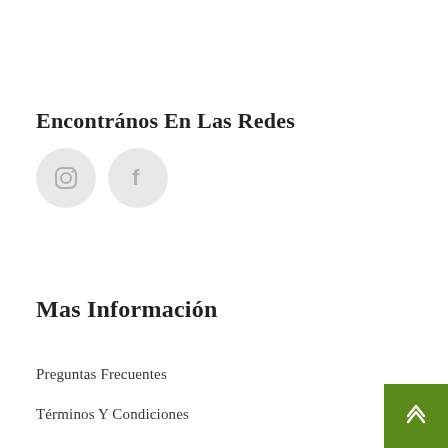Encontrános En Las Redes
[Figure (illustration): Two circular social media icon buttons: Instagram (camera icon) and Facebook (f icon), both with light gray background circles.]
Mas Información
Preguntas Frecuentes
Términos Y Condiciones